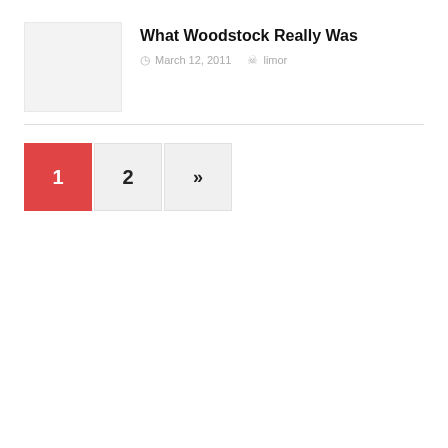[Figure (other): Thumbnail placeholder image (light gray rectangle)]
What Woodstock Really Was
March 12, 2011   limor
Pagination: 1 (current), 2, »